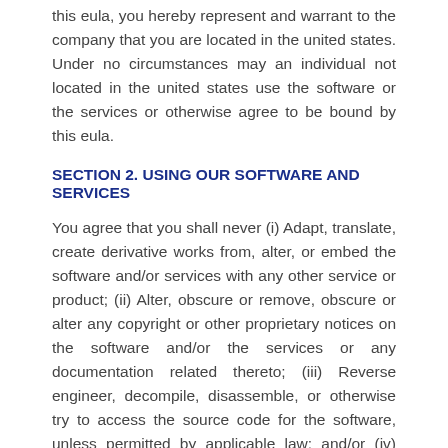this eula, you hereby represent and warrant to the company that you are located in the united states. Under no circumstances may an individual not located in the united states use the software or the services or otherwise agree to be bound by this eula.
SECTION 2. USING OUR SOFTWARE AND SERVICES
You agree that you shall never (i) Adapt, translate, create derivative works from, alter, or embed the software and/or services with any other service or product; (ii) Alter, obscure or remove, obscure or alter any copyright or other proprietary notices on the software and/or the services or any documentation related thereto; (iii) Reverse engineer, decompile, disassemble, or otherwise try to access the source code for the software, unless permitted by applicable law; and/or (iv) Use separate components of the software on different computers.
You agree that you shall never interfere or disrupt the proper function of the software and/or services, including any technology, equipment, servers, and networking